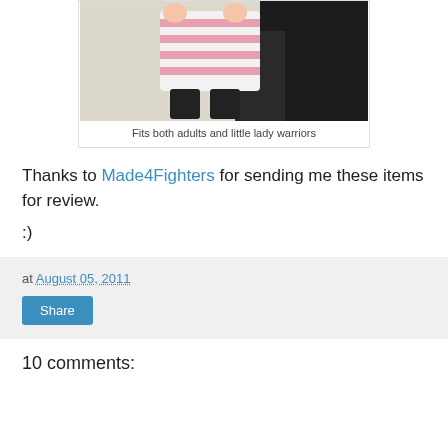[Figure (photo): Photo of a baby or young child in a pink and white striped outfit being held by an adult in dark clothing]
Fits both adults and little lady warriors
Thanks to Made4Fighters for sending me these items for review.
:)
at August 05, 2011
Share
10 comments: